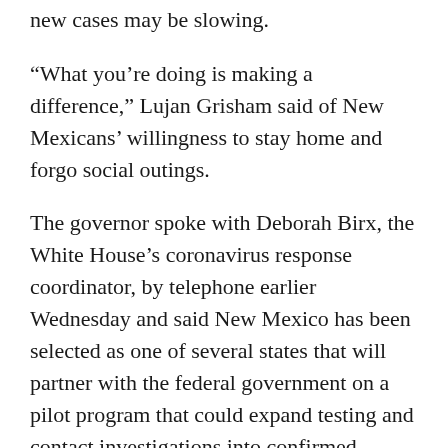new cases may be slowing.
“What you’re doing is making a difference,” Lujan Grisham said of New Mexicans’ willingness to stay home and forgo social outings.
The governor spoke with Deborah Birx, the White House’s coronavirus response coordinator, by telephone earlier Wednesday and said New Mexico has been selected as one of several states that will partner with the federal government on a pilot program that could expand testing and contact investigations into confirmed COVID-19 cases.
While details on the partnership were still scarce, the governor suggested it could allow for temperature readings of certain workers, a necessary step for reopening closed businesses.